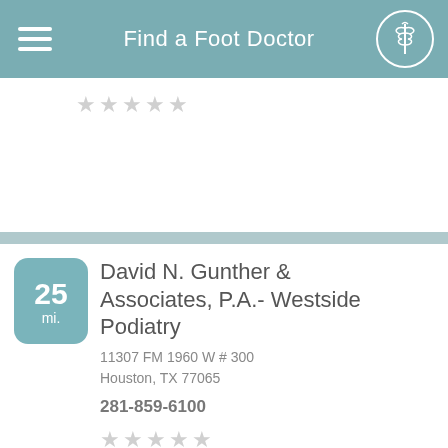Find a Foot Doctor
[Figure (screenshot): Empty star rating row (5 gray stars) for a partially visible listing above]
David N. Gunther & Associates, P.A.- Westside Podiatry
11307 FM 1960 W # 300
Houston, TX 77065
281-859-6100
[Figure (screenshot): 5 gray empty star rating icons]
David N. Gunther & Associates, P.A.- Westside